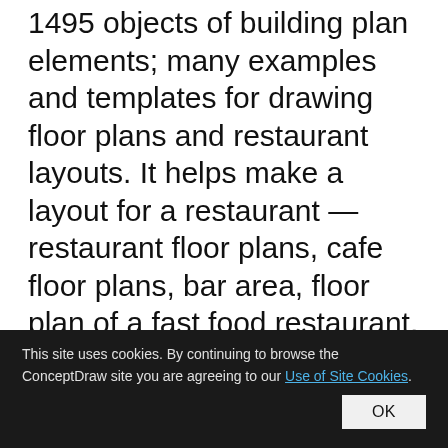1495 objects of building plan elements; many examples and templates for drawing floor plans and restaurant layouts. It helps make a layout for a restaurant — restaurant floor plans, cafe floor plans, bar area, floor plan of a fast food restaurant, restaurant furniture layout, etc. ConceptDraw DIAGRAM — great restaurant floor planner. You do not need to be an artist to create great-looking
This site uses cookies. By continuing to browse the ConceptDraw site you are agreeing to our Use of Site Cookies. OK